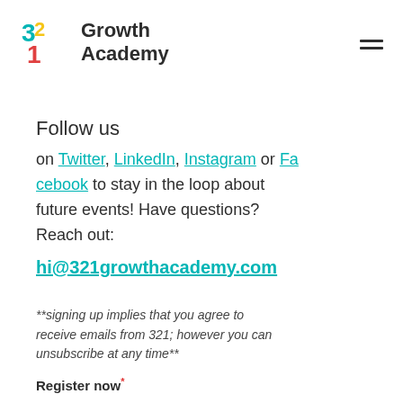[Figure (logo): 321 Growth Academy logo with colorful 321 icon and text]
Follow us
on Twitter, LinkedIn, Instagram or Facebook to stay in the loop about future events!  Have questions? Reach out:
hi@321growthacademy.com
**signing up implies that you agree to receive emails from 321; however you can unsubscribe at any time**
Register now*